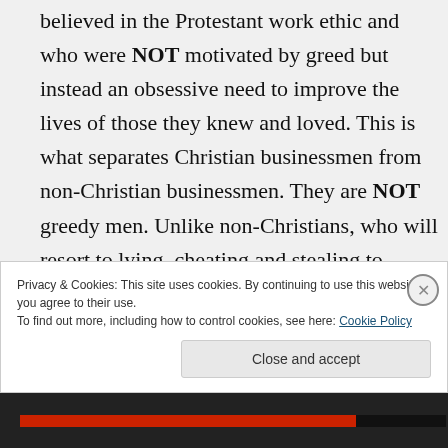believed in the Protestant work ethic and who were NOT motivated by greed but instead an obsessive need to improve the lives of those they knew and loved. This is what separates Christian businessmen from non-Christian businessmen. They are NOT greedy men. Unlike non-Christians, who will resort to lying, cheating and stealing to acquire wealth, Christians RARELY
Privacy & Cookies: This site uses cookies. By continuing to use this website, you agree to their use.
To find out more, including how to control cookies, see here: Cookie Policy
Close and accept